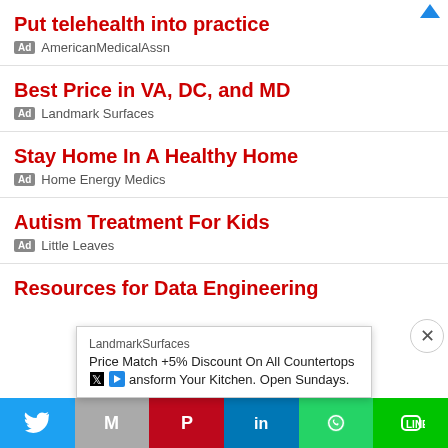Put telehealth into practice — Ad · AmericanMedicalAssn
Best Price in VA, DC, and MD — Ad · Landmark Surfaces
Stay Home In A Healthy Home — Ad · Home Energy Medics
Autism Treatment For Kids — Ad · Little Leaves
Resources for Data Engineering
LandmarkSurfaces
Price Match +5% Discount On All Countertops
Transform Your Kitchen. Open Sundays.